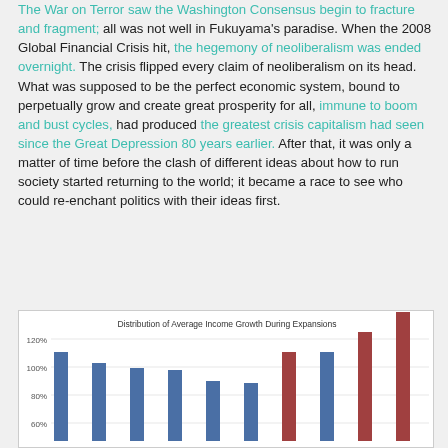The War on Terror saw the Washington Consensus begin to fracture and fragment; all was not well in Fukuyama's paradise. When the 2008 Global Financial Crisis hit, the hegemony of neoliberalism was ended overnight. The crisis flipped every claim of neoliberalism on its head. What was supposed to be the perfect economic system, bound to perpetually grow and create great prosperity for all, immune to boom and bust cycles, had produced the greatest crisis capitalism had seen since the Great Depression 80 years earlier. After that, it was only a matter of time before the clash of different ideas about how to run society started returning to the world; it became a race to see who could re-enchant politics with their ideas first.
[Figure (bar-chart): Distribution of Average Income Growth During Expansions]